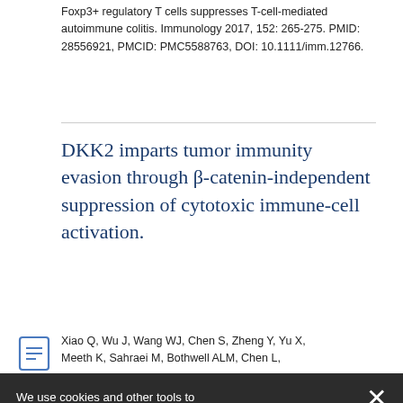Foxp3+ regulatory T cells suppresses T-cell-mediated autoimmune colitis. Immunology 2017, 152: 265-275. PMID: 28556921, PMCID: PMC5588763, DOI: 10.1111/imm.12766.
DKK2 imparts tumor immunity evasion through β-catenin-independent suppression of cytotoxic immune-cell activation.
Xiao Q, Wu J, Wang WJ, Chen S, Zheng Y, Yu X, Meeth K, Sahraei M, Bothwell ALM, Chen L, Bosenberg M, Chen J, Sexl V, Sun L, Li L, Tang W, ...
We use cookies and other tools to enhance your experience and analyze web trends. By using this website, you agree to its use of cookies. To learn more, please review our Privacy Policy.